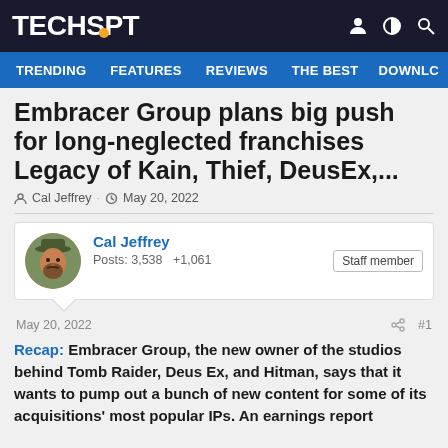TECHSPOT
TRENDING  FEATURES  REVIEWS  THE BEST  DOWNLC
Embracer Group plans big push for long-neglected franchises Legacy of Kain, Thief, DeusEx,...
Cal Jeffrey · May 20, 2022
Cal Jeffrey
Posts: 3,538  +1,061
Staff member
May 20, 2022  #1
Recap: Embracer Group, the new owner of the studios behind Tomb Raider, Deus Ex, and Hitman, says that it wants to pump out a bunch of new content for some of its acquisitions' most popular IPs. An earnings report